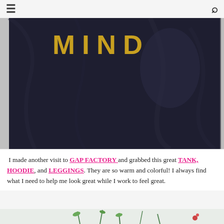≡  🔍
[Figure (photo): Close-up photo of a dark navy/black hoodie with the word MIND printed in gold/yellow letters on the chest. A gray garment is partially visible on the left side.]
I made another visit to GAP FACTORY and grabbed this great TANK, HOODIE, and LEGGINGS. They are so warm and colorful! I always find what I need to help me look great while I work to feel great.
[Figure (photo): Bottom portion of a photo showing plants/greenery against a light background.]